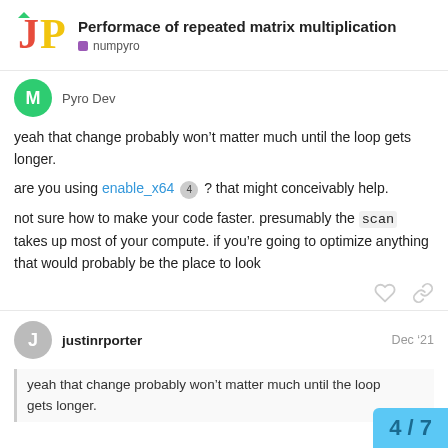Performace of repeated matrix multiplication — numpyro
Pyro Dev
yeah that change probably won't matter much until the loop gets longer.
are you using enable_x64 4 ? that might conceivably help.
not sure how to make your code faster. presumably the scan takes up most of your compute. if you're going to optimize anything that would probably be the place to look
justinrporter — Dec '21
yeah that change probably won't matter much until the loop gets longer.
4 / 7